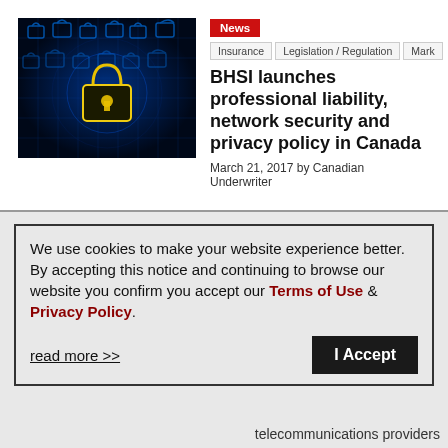[Figure (photo): Blue glowing digital padlocks on a circuit board background — cybersecurity themed image]
News
Insurance   Legislation / Regulation   Mark
BHSI launches professional liability, network security and privacy policy in Canada
March 21, 2017 by Canadian Underwriter
We use cookies to make your website experience better. By accepting this notice and continuing to browse our website you confirm you accept our Terms of Use & Privacy Policy.
read more >>
I Accept
telecommunications providers